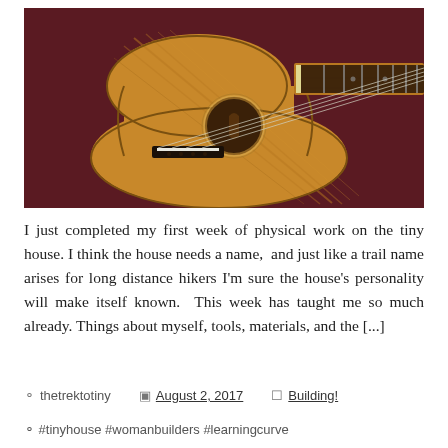[Figure (photo): A ukulele photographed from above on a dark red/maroon fabric background. The instrument shows a wooden body with warm golden-brown tones, visible wood grain, a sound hole with decorative rosette, a black bridge with white saddle, and a fretboard with strings extending to the right. The headstock is not visible as the neck extends off the right edge of the image.]
I just completed my first week of physical work on the tiny house. I think the house needs a name,  and just like a trail name arises for long distance hikers I'm sure the house's personality will make itself known.  This week has taught me so much already. Things about myself, tools, materials, and the [...]
thetrektotiny   August 2, 2017   Building!
#tinyhouse #womanbuilders #learningcurve